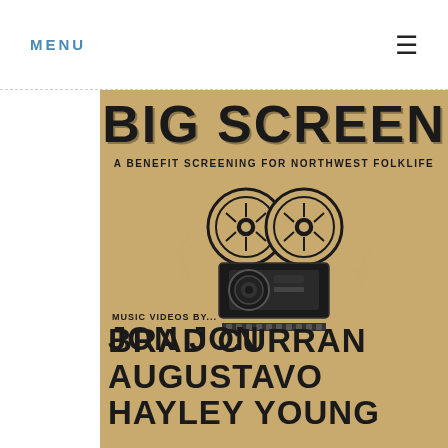MENU ☰
[Figure (illustration): Vintage-style event poster on kraft paper background. Shows large 'BIG SCREEN' text at top, subtitle 'A BENEFIT SCREENING FOR NORTHWEST FOLKLIFE', a vintage film camera illustration in the center with wreath decoration, then 'MUSIC VIDEOS BY...' followed by artist names: BRAD CURRAN, JON JON AUGUSTAVO, HAYLEY YOUNG, and partially visible text at bottom.]